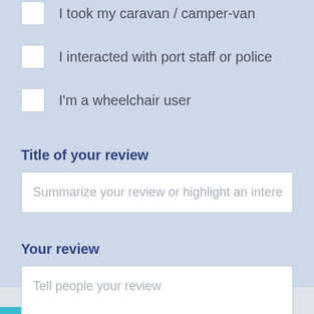I took my caravan / camper-van
I interacted with port staff or police
I'm a wheelchair user
Title of your review
Summarize your review or highlight an intere
Your review
Tell people your review